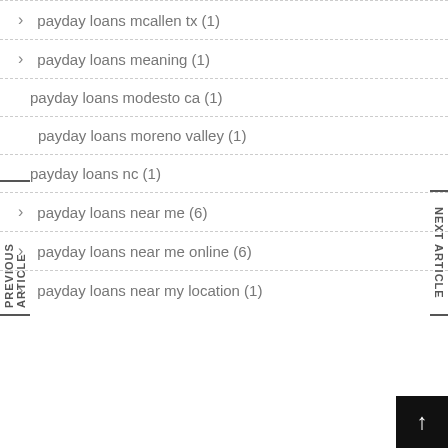payday loans mcallen tx (1)
payday loans meaning (1)
payday loans modesto ca (1)
payday loans moreno valley (1)
payday loans nc (1)
payday loans near me (6)
payday loans near me online (6)
payday loans near my location (1)